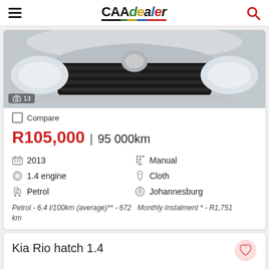CAAdealer
[Figure (photo): Close-up photo of the front grille and headlights of a silver Kia car. Image count badge shows 13.]
Compare
R105,000 | 95 000km
2013
Manual
1.4 engine
Cloth
Petrol
Johannesburg
Petrol - 6.4 l/100km (average)** - 672 km
Monthly Instalment * - R1,751
Kia Rio hatch 1.4